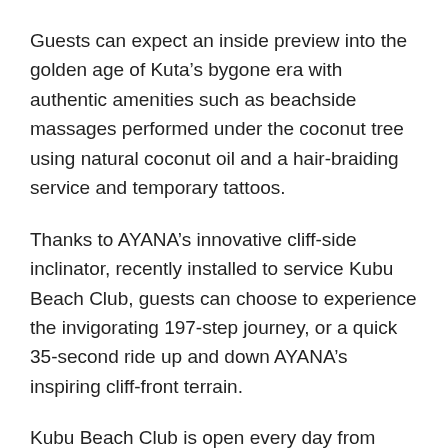Guests can expect an inside preview into the golden age of Kuta's bygone era with authentic amenities such as beachside massages performed under the coconut tree using natural coconut oil and a hair-braiding service and temporary tattoos.
Thanks to AYANA's innovative cliff-side inclinator, recently installed to service Kubu Beach Club, guests can choose to experience the invigorating 197-step journey, or a quick 35-second ride up and down AYANA's inspiring cliff-front terrain.
Kubu Beach Club is open every day from 9.00am – 7.00pm, with lunch service starting at 11.00am. Families staying at AYANA are welcome to enjoy a delicious and comforting meal with their children. Small groups are encouraged to plan ahead when booking private dining